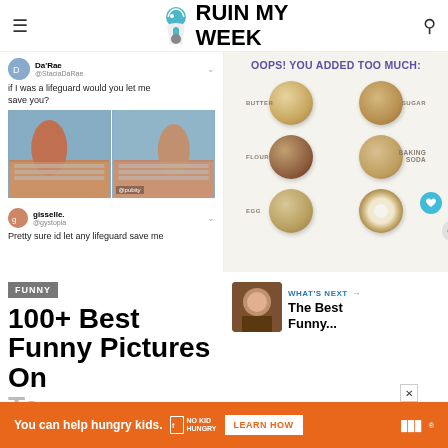RUIN MY WEEK
[Figure (screenshot): Tweet from Da'Rae @StaciaDaRae: 'if I was a lifeguard would you let me save you?' with two photos of a woman at a railing. Reply from gisselle. @gystopia: 'Pretty sure id let any lifeguard save me']
[Figure (infographic): Cookie baking infographic titled 'OOPS! YOU ADDED TOO MUCH:' showing 6 cookies with labels BUTTER, SUGAR, FLOUR, BAKING SODA, EGG with cookie variations]
FUNNY
100+ Best Funny Pictures On
[Figure (photo): WHAT'S NEXT thumbnail - The Best Funny...]
[Figure (screenshot): Ad banner: You can help hungry kids. NO KID HUNGRY LEARN HOW]